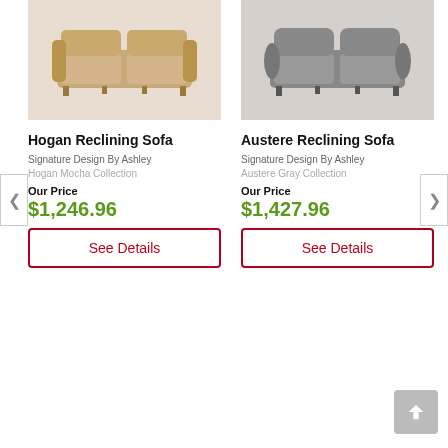[Figure (photo): Hogan Reclining Sofa in mocha/tan leather color, shown from front angle]
[Figure (photo): Austere Reclining Sofa in gray leather color, shown from front angle]
Hogan Reclining Sofa
Austere Reclining Sofa
Signature Design By Ashley
Signature Design By Ashley
Hogan Mocha Collection
Austere Gray Collection
Our Price
$1,246.96
Our Price
$1,427.96
See Details
See Details